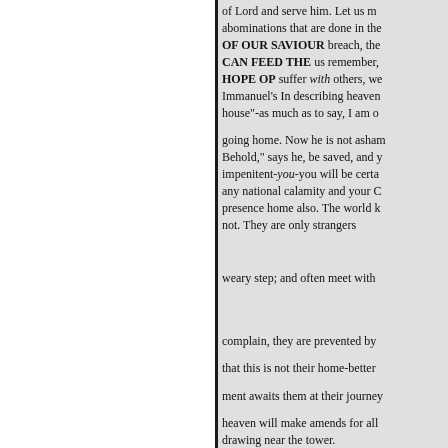of Lord and serve him. Let us m abominations that are done in the OF OUR SAVIOUR breach, the CAN FEED THE us remember, HOPE OP suffer with others, we Immanuel's In describing heaven house"-as much as to say, I am o going home. Now he is not asha Behold," says he, be saved, and impenitent-you-you will be certa any national calamity and your C presence home also. The world k not. They are only strangers weary step; and often meet with complain, they are prevented by that this is not their home-better ment awaits them at their journey heaven will make amends for all drawing near the tower.